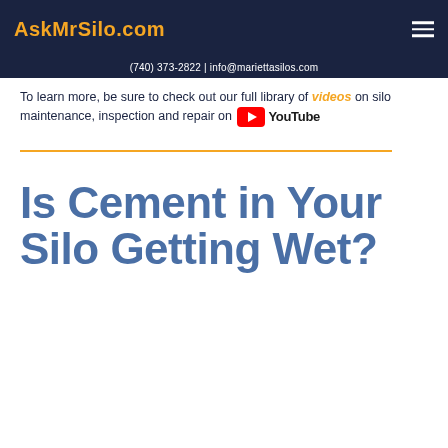AskMrSilo.com
(740) 373-2822 | info@mariettasilos.com
To learn more, be sure to check out our full library of videos on silo maintenance, inspection and repair on YouTube
Is Cement in Your Silo Getting Wet?